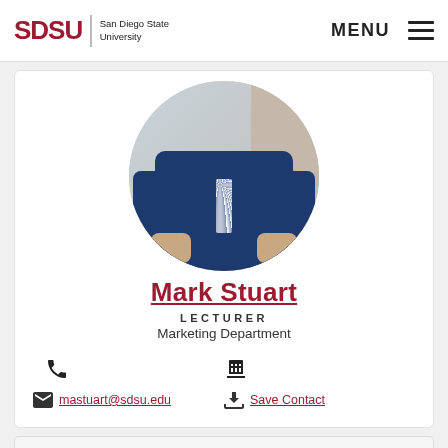SDSU San Diego State University | MENU ☰
[Figure (photo): Circular profile photo of Mark Stuart wearing a dark navy blue suit with a patterned tie, arms folded, against a beige/cream background]
Mark Stuart
LECTURER
Marketing Department
📞 [phone icon]   🏢 [building icon]
✉ mastuart@sdsu.edu   ⬇ Save Contact